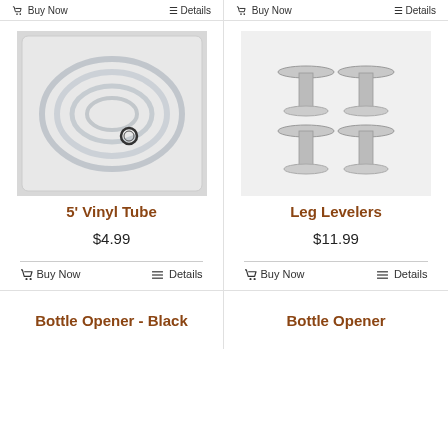[Figure (screenshot): Top partial row showing Buy Now and Details buttons for two products (cut off at top)]
[Figure (photo): 5' Vinyl Tube product photo - clear plastic tubing coiled in a plastic bag]
5' Vinyl Tube
$4.99
[Figure (photo): Leg Levelers product photo - four chrome adjustable leveler feet with bolts and nuts]
Leg Levelers
$11.99
Bottle Opener - Black
Bottle Opener